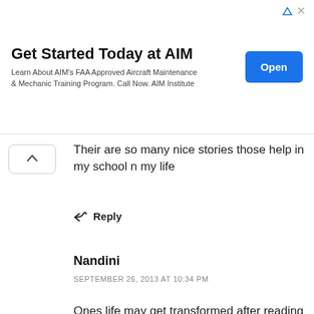[Figure (other): Advertisement banner: Get Started Today at AIM. Learn About AIM's FAA Approved Aircraft Maintenance & Mechanic Training Program. Call Now. AIM Institute. Blue Open button.]
Their are so many nice stories those help in my school n my life
Reply
Nandini
SEPTEMBER 26, 2013 AT 10:34 PM
Ones life may get transformed after reading your stories great job !!!!!!!
Reply